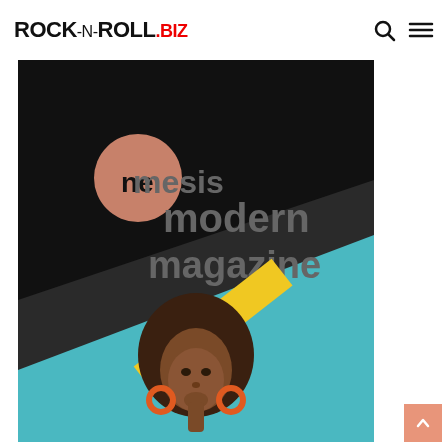ROCK-n-ROLL.biz
[Figure (illustration): Nemesis modern magazine advertisement (300x500) showing a woman with afro hair on teal/black diagonal background with a salmon-colored circle logo element and yellow banner reading '300 x 500']